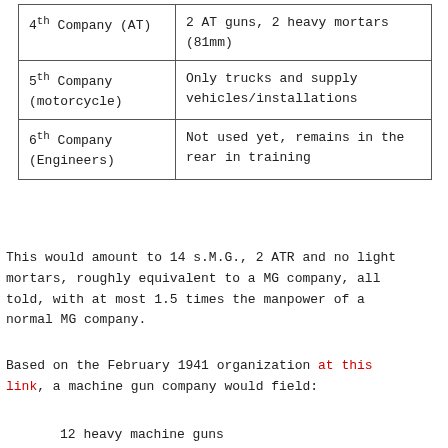| 4th Company (AT) | 2 AT guns, 2 heavy mortars (81mm) |
| 5th Company (motorcycle) | Only trucks and supply vehicles/installations |
| 6th Company (Engineers) | Not used yet, remains in the rear in training |
This would amount to 14 s.M.G., 2 ATR and no light mortars, roughly equivalent to a MG company, all told, with at most 1.5 times the manpower of a normal MG company.
Based on the February 1941 organization at this link, a machine gun company would field:
12 heavy machine guns